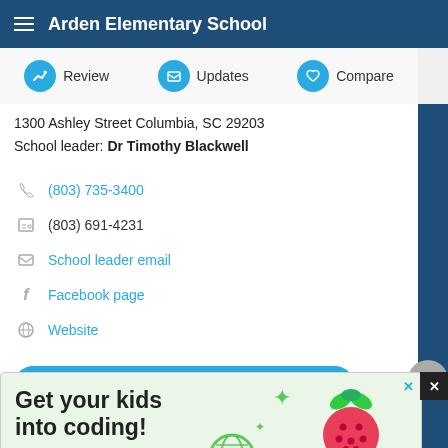Arden Elementary School
Review | Updates | Compare
1300 Ashley Street Columbia, SC 29203
School leader: Dr Timothy Blackwell
(803) 735-3400
(803) 691-4231
School leader email
Facebook page
Website
School attendance zone
[Figure (screenshot): Advertisement banner with light green background. Text reads 'Get your kids into coding!' with a raspberry pi logo (red raspberry with green leaves) and decorative icons including a globe and music notes.]
ADVERTISEMENT